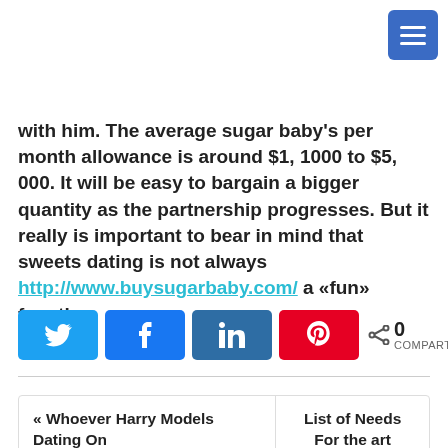with him. The average sugar baby's per month allowance is around $1, 1000 to $5, 000. It will be easy to bargain a bigger quantity as the partnership progresses. But it really is important to bear in mind that sweets dating is not always http://www.buysugarbaby.com/ a «fun» function.
[Figure (other): Social share buttons: Twitter, Facebook, LinkedIn, Pinterest, and a share count showing 0 COMPART]
« Whoever Harry Models Dating On http://courtingchristians.com/?lc=cs-cz 2021? David Designs Seeing Trend
List of Needs For the art photography purpose of Revisit & Resume »